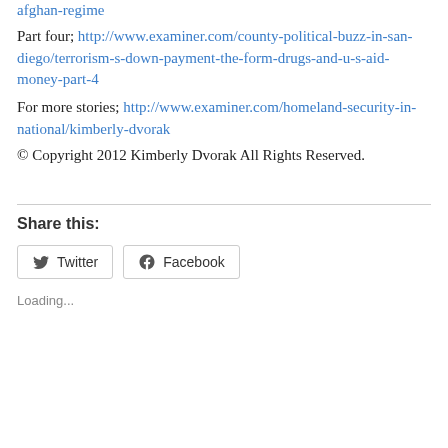afghan-regime
Part four; http://www.examiner.com/county-political-buzz-in-san-diego/terrorism-s-down-payment-the-form-drugs-and-u-s-aid-money-part-4
For more stories; http://www.examiner.com/homeland-security-in-national/kimberly-dvorak
© Copyright 2012 Kimberly Dvorak All Rights Reserved.
Share this:
Twitter  Facebook
Loading...